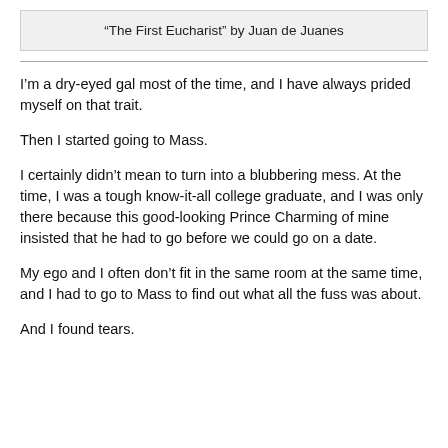“The First Eucharist” by Juan de Juanes
I’m a dry-eyed gal most of the time, and I have always prided myself on that trait.
Then I started going to Mass.
I certainly didn’t mean to turn into a blubbering mess. At the time, I was a tough know-it-all college graduate, and I was only there because this good-looking Prince Charming of mine insisted that he had to go before we could go on a date.
My ego and I often don’t fit in the same room at the same time, and I had to go to Mass to find out what all the fuss was about.
And I found tears.